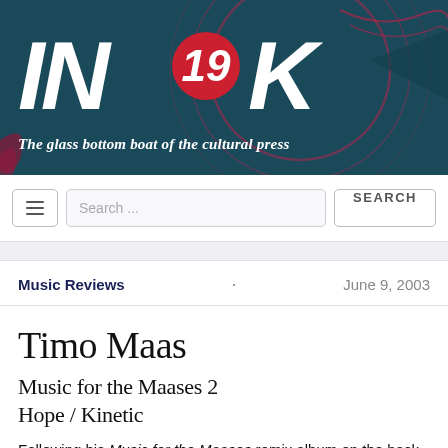[Figure (logo): IN19K logo with red circle containing '19', on dark teal background with decorative swirling lines in pink/red]
The glass bottom boat of the cultural press
Search ...
SEARCH
Music Reviews · June 9, 2003
Timo Maas
Music for the Maases 2
Hope / Kinetic
Following his Music for the Maases remix album on the back of last year's outstanding Loud, it's something of a disappointment that Timo Maas has only made room for one